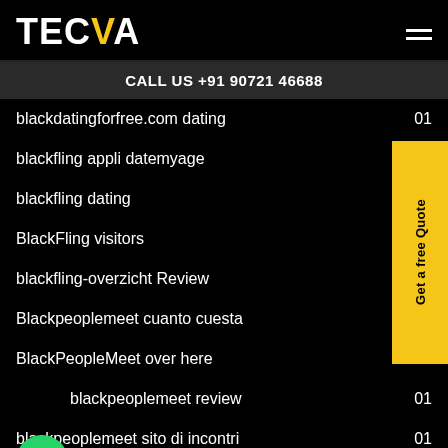TECVA
CALL US +91 90721 46688
blackdatingforfree.com dating  01
blackfling appli datemyage  01
blackfling dating  01
BlackFling visitors
blackfling-overzicht Review
Blackpeoplemeet cuanto cuesta
BlackPeopleMeet over here
blackpeoplemeet review  01
blackpeoplemeet sito di incontri  01
BlackPeopleMeet visitors  01